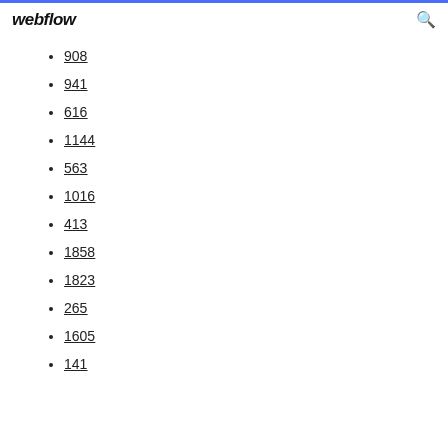webflow
908
941
616
1144
563
1016
413
1858
1823
265
1605
141